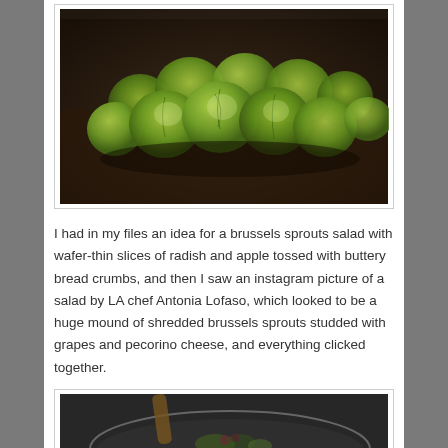[Figure (photo): A pile of fresh brussels sprouts on a dark surface, photographed close-up]
I had in my files an idea for a brussels sprouts salad with wafer-thin slices of radish and apple tossed with buttery bread crumbs, and then I saw an instagram picture of a salad by LA chef Antonia Lofaso, which looked to be a huge mound of shredded brussels sprouts studded with grapes and pecorino cheese, and everything clicked together.
[Figure (photo): A partial view of a bowl with salad ingredients, blurred background with wooden utensil visible]